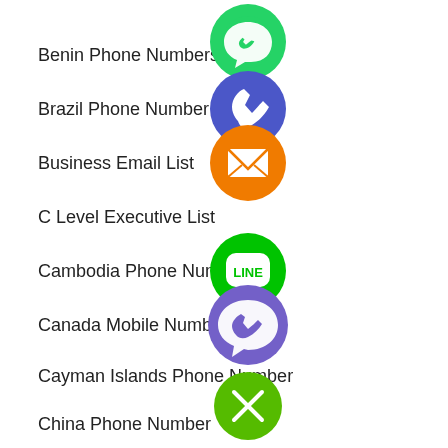Benin Phone Numbers
Brazil Phone Number
Business Email List
C Level Executive List
Cambodia Phone Numbers
Canada Mobile Numbers
Cayman Islands Phone Number
China Phone Number
[Figure (infographic): Floating social/communication app icon circles overlaid on a list: WhatsApp (green), phone/Viber blue circle, email orange circle, Line green circle, Viber purple circle, close green circle]